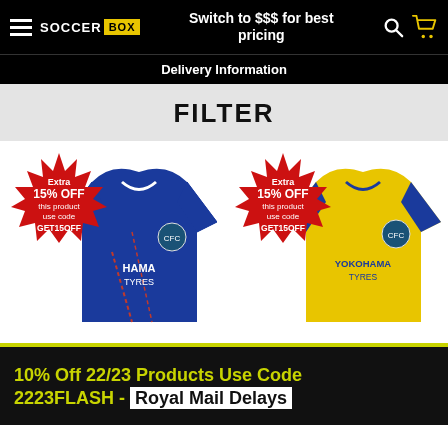Switch to $$$ for best pricing
Delivery Information
FILTER
[Figure (photo): Two Chelsea FC soccer jerseys — blue (home) and yellow (away) — each overlaid with a red star-shaped badge reading 'Extra 15% OFF this product use code GET15OFF']
10% Off 22/23 Products Use Code 2223FLASH - Royal Mail Delays